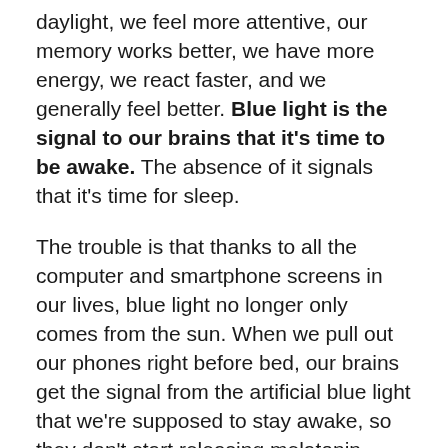daylight, we feel more attentive, our memory works better, we have more energy, we react faster, and we generally feel better. Blue light is the signal to our brains that it's time to be awake. The absence of it signals that it's time for sleep.
The trouble is that thanks to all the computer and smartphone screens in our lives, blue light no longer only comes from the sun. When we pull out our phones right before bed, our brains get the signal from the artificial blue light that we're supposed to stay awake, so they don't start releasing melatonin. This makes it harder to sleep and lowers the quality of the sleep we do manage to get, contributing to a wide range of potential negative health effects.
To keep blue light from messing up our sleep cycles, we can simply avoid looking at our